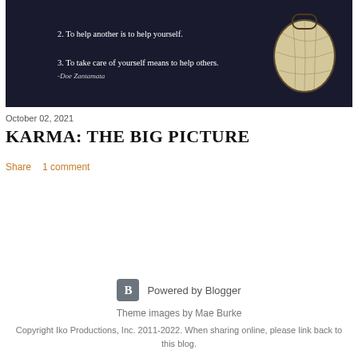[Figure (photo): Dark background image with white text showing a numbered list of karma quotes: '2. To help another is to help yourself.' and '3. To take care of yourself means to help others.' and '-Doe Zantamata', with a decorative globe illustration on the right side.]
October 02, 2021
KARMA: THE BIG PICTURE
Share    1 comment
Powered by Blogger
Theme images by Mae Burke
Copyright Iko Productions, Inc. 2011-2022. When sharing online, please link back to this blog.